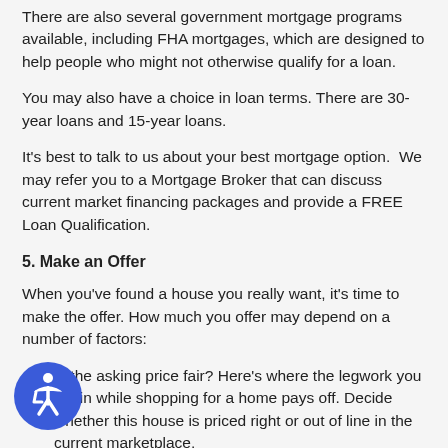There are also several government mortgage programs available, including FHA mortgages, which are designed to help people who might not otherwise qualify for a loan.
You may also have a choice in loan terms. There are 30-year loans and 15-year loans.
It's best to talk to us about your best mortgage option.  We may refer you to a Mortgage Broker that can discuss current market financing packages and provide a FREE Loan Qualification.
5. Make an Offer
When you've found a house you really want, it's time to make the offer. How much you offer may depend on a number of factors:
Is the asking price fair? Here's where the legwork you put in while shopping for a home pays off. Decide whether this house is priced right or out of line in the current marketplace.
Is the house in good condition? Is this house in move-in condition or will it need a lot of work? Take any costs of improvement into consideration when deciding your offer